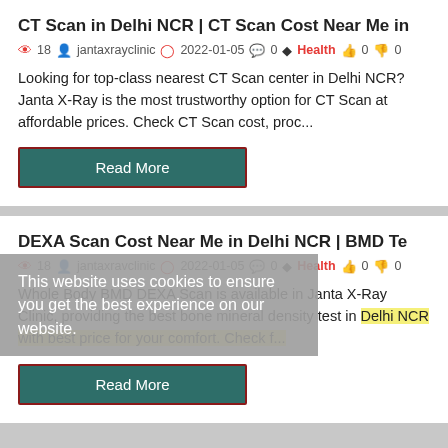CT Scan in Delhi NCR | CT Scan Cost Near Me in
18  jantaxrayclinic  2022-01-05  0  Health  0  0
Looking for top-class nearest CT Scan center in Delhi NCR? Janta X-Ray is the most trustworthy option for CT Scan at affordable prices. Check CT Scan cost, proc...
Read More
DEXA Scan Cost Near Me in Delhi NCR | BMD Te
This website uses cookies to ensure you get the best experience on our website.
18  jantaxravclinic  2022-01-05  0  Health  0  0
Whole Body BMD DEXA Scan is available in Janta X-Ray Clinic, providing the best bone mineral density test in Delhi NCR with best price for your comfort. Check f...
Read More